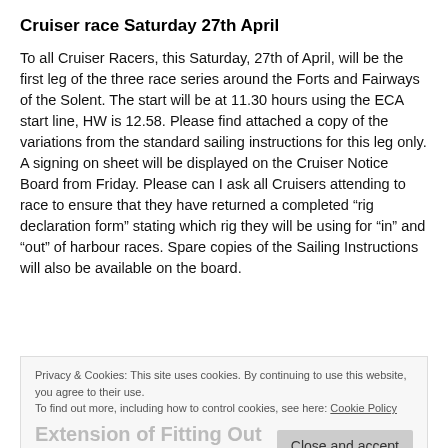Cruiser race Saturday 27th April
To all Cruiser Racers, this Saturday, 27th of April, will be the first leg of the three race series around the Forts and Fairways of the Solent. The start will be at 11.30 hours using the ECA start line, HW is 12.58. Please find attached a copy of the variations from the standard sailing instructions for this leg only. A signing on sheet will be displayed on the Cruiser Notice Board from Friday. Please can I ask all Cruisers attending to race to ensure that they have returned a completed “rig declaration form” stating which rig they will be using for “in” and “out” of harbour races. Spare copies of the Sailing Instructions will also be available on the board.
Privacy & Cookies: This site uses cookies. By continuing to use this website, you agree to their use.
To find out more, including how to control cookies, see here: Cookie Policy
Extension of Fitting Out Period
It was agreed at the last Executive meeting to extend the